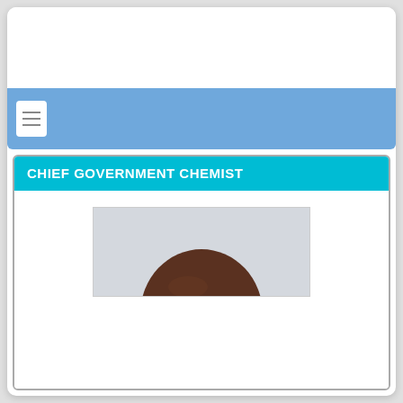[Figure (screenshot): Website screenshot showing a navigation bar with hamburger menu icon on a blue background, followed by a cyan header bar labeled 'CHIEF GOVERNMENT CHEMIST', and below it a partially visible portrait photo of a person (only the top of the head is visible).]